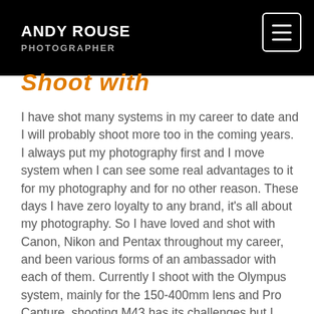ANDY ROUSE PHOTOGRAPHER
Shoot with
I have shot many systems in my career to date and I will probably shoot more too in the coming years. I always put my photography first and I move system when I can see some real advantages to it for my photography and for no other reason. These days I have zero loyalty to any brand, it's all about my photography. So I have loved and shot with Canon, Nikon and Pentax throughout my career, and been various forms of an ambassador with each of them. Currently I shoot with the Olympus system, mainly for the 150-400mm lens and Pro Capture, shooting M43 has its challenges but I have enjoyed my time shooting with the system. I'm always looking at the market and what's available and new, if some new piece of kit peaks my interest then I will test it and use it for my work if it